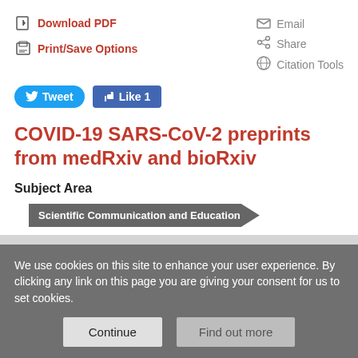Download PDF
Print/Save Options
Email
Share
Citation Tools
Tweet
Like 1
COVID-19 SARS-CoV-2 preprints from medRxiv and bioRxiv
Subject Area
Scientific Communication and Education
Subject Areas
We use cookies on this site to enhance your user experience. By clicking any link on this page you are giving your consent for us to set cookies.